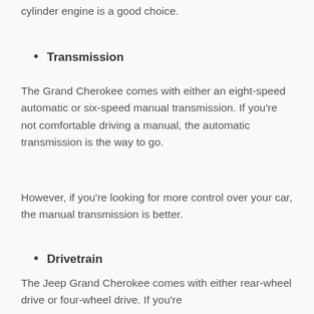cylinder engine is a good choice.
Transmission
The Grand Cherokee comes with either an eight-speed automatic or six-speed manual transmission. If you're not comfortable driving a manual, the automatic transmission is the way to go.
However, if you're looking for more control over your car, the manual transmission is better.
Drivetrain
The Jeep Grand Cherokee comes with either rear-wheel drive or four-wheel drive. If you're